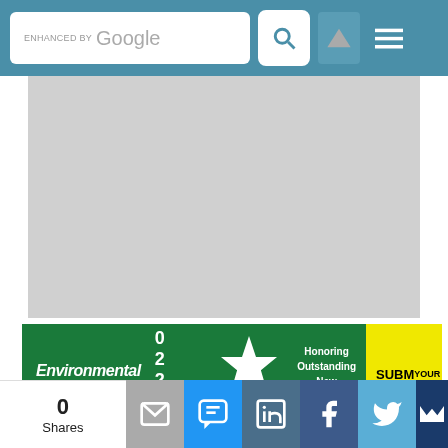[Figure (screenshot): Search bar with 'ENHANCED BY Google' text and search button icon]
[Figure (screenshot): Gray placeholder/ad area]
[Figure (screenshot): Environmental Protection 2022 New Product of the Year banner - Honoring Outstanding New Products, with SUBMIT YOUR ENTRY button]
DOWNLOAD CENTER
Safety Metrics Guide
Is your company leveraging its safety data and analytics to maintain a safe workplace? With so much data available, where do you start? This downloadable guide will give you insight on
[Figure (screenshot): Social sharing bar with 0 Shares, email, SMS, LinkedIn, Facebook, Twitter, and crown/bookmark icons]